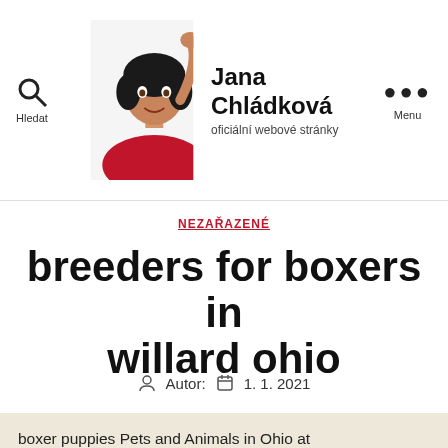Jana Chládková — oficiální webové stránky
NEZAŘAZENÉ
breeders for boxers in willard ohio
Autor:  1. 1. 2021
boxer puppies Pets and Animals in Ohio at